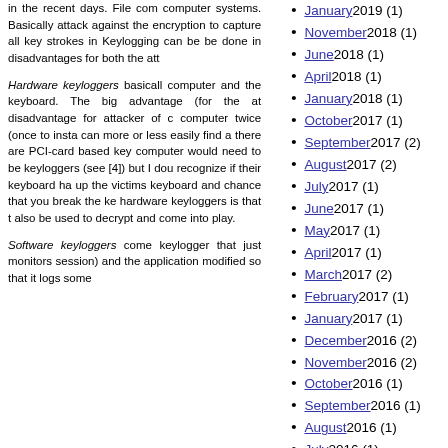in the recent days. File com computer systems. Basically attack against the encryption to capture all key strokes in Keylogging can be be done in disadvantages for both the att
Hardware keyloggers basically computer and the keyboard. The big advantage (for the at disadvantage for attacker of c computer twice (once to insta can more or less easily find a there are PCI-card based key computer would need to be keyloggers (see [4]) but I dou recognize if their keyboard ha up the victims keyboard and chance that you break the ke hardware keyloggers is that t also be used to decrypt and come into play.
Software keyloggers come keylogger that just monitors session) and the application modified so that it logs some
January 2019 (1)
November 2018 (1)
June 2018 (1)
April 2018 (1)
January 2018 (1)
October 2017 (1)
September 2017 (2)
August 2017 (2)
July 2017 (1)
June 2017 (1)
May 2017 (1)
April 2017 (1)
March 2017 (2)
February 2017 (1)
January 2017 (1)
December 2016 (2)
November 2016 (2)
October 2016 (1)
September 2016 (1)
August 2016 (1)
July 2016 (1)
June 2016 (1)
May 2016 (1)
March 2016 (1)